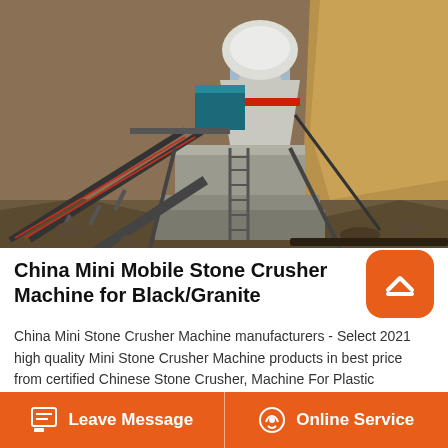[Figure (photo): Stone crusher machine installation at a quarry/mining site. Shows a cone crusher mounted on a concrete pedestal, with a conveyor belt system on the left, metal stairs/ladders, and excavated rocky terrain in the background.]
China Mini Mobile Stone Crusher Machine for Black/Granite
China Mini Stone Crusher Machine manufacturers - Select 2021 high quality Mini Stone Crusher Machine products in best price from certified Chinese Stone Crusher, Machine For Plastic suppliers, wholesalers and factory on Made-in-China.comProject Report on Stone Crusher Project Report on Stone Crusher includes present...
Leave Message   Online Service